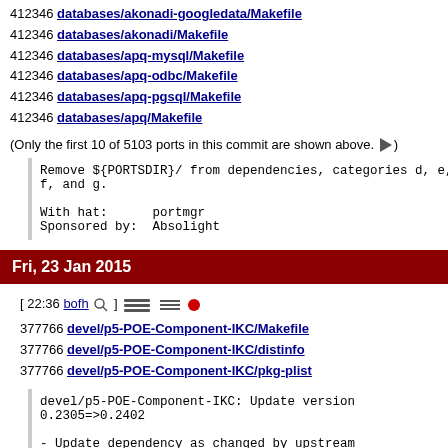412346 databases/akonadi-googledata/Makefile
412346 databases/akonadi/Makefile
412346 databases/apq-mysql/Makefile
412346 databases/apq-odbc/Makefile
412346 databases/apq-pgsql/Makefile
412346 databases/apq/Makefile
(Only the first 10 of 5103 ports in this commit are shown above. ▶)
Remove ${PORTSDIR}/ from dependencies, categories d, e, f, and g.

With hat:      portmgr
Sponsored by:  Absolight
Fri, 23 Jan 2015
[ 22:36 bofh ]
377766 devel/p5-POE-Component-IKC/Makefile
377766 devel/p5-POE-Component-IKC/distinfo
377766 devel/p5-POE-Component-IKC/pkg-plist
devel/p5-POE-Component-IKC: Update version 0.2305=>0.2402

- Update dependency as changed by upstream